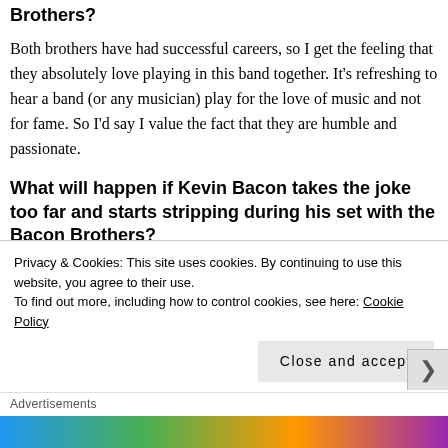Brothers?
Both brothers have had successful careers, so I get the feeling that they absolutely love playing in this band together. It's refreshing to hear a band (or any musician) play for the love of music and not for fame. So I'd say I value the fact that they are humble and passionate.
What will happen if Kevin Bacon takes the joke too far and starts stripping during his set with the Bacon Brothers?
Privacy & Cookies: This site uses cookies. By continuing to use this website, you agree to their use.
To find out more, including how to control cookies, see here: Cookie Policy
Advertisements